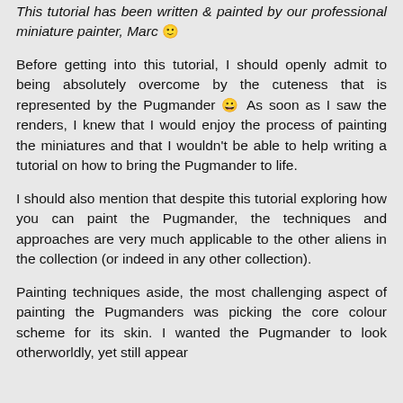This tutorial has been written & painted by our professional miniature painter, Marc 🙂
Before getting into this tutorial, I should openly admit to being absolutely overcome by the cuteness that is represented by the Pugmander 😀 As soon as I saw the renders, I knew that I would enjoy the process of painting the miniatures and that I wouldn't be able to help writing a tutorial on how to bring the Pugmander to life.
I should also mention that despite this tutorial exploring how you can paint the Pugmander, the techniques and approaches are very much applicable to the other aliens in the collection (or indeed in any other collection).
Painting techniques aside, the most challenging aspect of painting the Pugmanders was picking the core colour scheme for its skin. I wanted the Pugmander to look otherworldly, yet still appear...